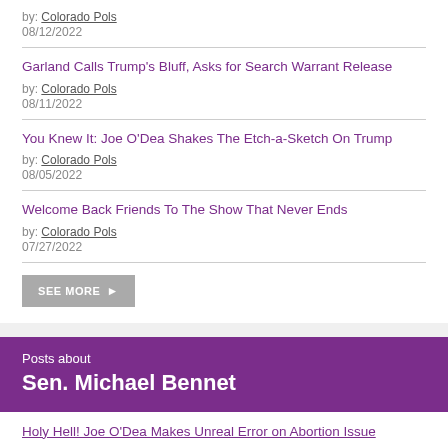by: Colorado Pols
08/12/2022
Garland Calls Trump's Bluff, Asks for Search Warrant Release
by: Colorado Pols
08/11/2022
You Knew It: Joe O'Dea Shakes The Etch-a-Sketch On Trump
by: Colorado Pols
08/05/2022
Welcome Back Friends To The Show That Never Ends
by: Colorado Pols
07/27/2022
SEE MORE
Posts about
Sen. Michael Bennet
Holy Hell! Joe O'Dea Makes Unreal Error on Abortion Issue